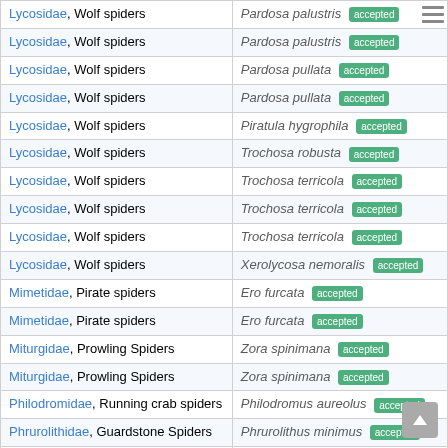| Family | Species |
| --- | --- |
| Lycosidae, Wolf spiders | Pardosa palustris [accepted] |
| Lycosidae, Wolf spiders | Pardosa palustris [accepted] |
| Lycosidae, Wolf spiders | Pardosa pullata [accepted] |
| Lycosidae, Wolf spiders | Pardosa pullata [accepted] |
| Lycosidae, Wolf spiders | Piratula hygrophila [accepted] |
| Lycosidae, Wolf spiders | Trochosa robusta [accepted] |
| Lycosidae, Wolf spiders | Trochosa terricola [accepted] |
| Lycosidae, Wolf spiders | Trochosa terricola [accepted] |
| Lycosidae, Wolf spiders | Trochosa terricola [accepted] |
| Lycosidae, Wolf spiders | Xerolycosa nemoralis [accepted] |
| Mimetidae, Pirate spiders | Ero furcata [accepted] |
| Mimetidae, Pirate spiders | Ero furcata [accepted] |
| Miturgidae, Prowling Spiders | Zora spinimana [accepted] |
| Miturgidae, Prowling Spiders | Zora spinimana [accepted] |
| Philodromidae, Running crab spiders | Philodromus aureolus [accepted] |
| Phrurolithidae, Guardstone Spiders | Phrurolithus minimus [accepted] |
| Phrurolithidae, Guardstone Spiders | Phrurolithus minimus [accepted] |
| Pisauridae, Nurseryweb spiders | Pisaura mirabilis [accepted] |
| Salticidae, Jumping spiders | Ballus chalybeius [accepted] |
| Salticidae, Jumping spiders | Euophrys frontalis [accepted] |